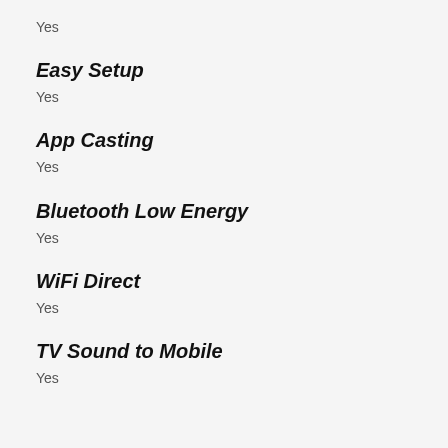Yes
Easy Setup
Yes
App Casting
Yes
Bluetooth Low Energy
Yes
WiFi Direct
Yes
TV Sound to Mobile
Yes